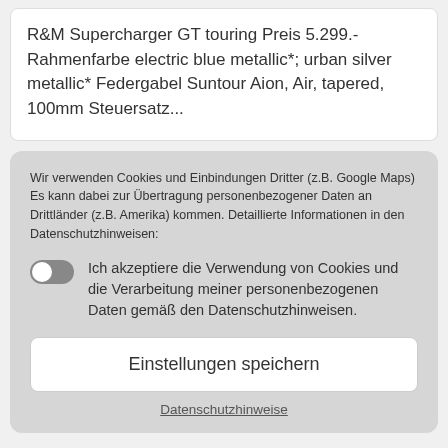R&M Supercharger GT touring Preis 5.299.- Rahmenfarbe electric blue metallic*; urban silver metallic* Federgabel Suntour Aion, Air, tapered, 100mm Steuersatz...
Wir verwenden Cookies und Einbindungen Dritter (z.B. Google Maps) Es kann dabei zur Übertragung personenbezogener Daten an Drittländer (z.B. Amerika) kommen. Detaillierte Informationen in den Datenschutzhinweisen:
Ich akzeptiere die Verwendung von Cookies und die Verarbeitung meiner personenbezogenen Daten gemäß den Datenschutzhinweisen.
Einstellungen speichern
Datenschutzhinweise